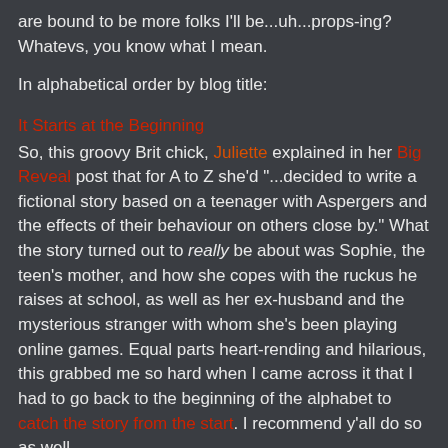are bound to be more folks I'll be...uh...props-ing? Whatevs, you know what I mean.
In alphabetical order by blog title:
It Starts at the Beginning
So, this groovy Brit chick, Juliette explained in her Big Reveal post that for A to Z she'd "...decided to write a fictional story based on a teenager with Aspergers and the effects of their behaviour on others close by." What the story turned out to really be about was Sophie, the teen's mother, and how she copes with the ruckus he raises at school, as well as her ex-husband and the mysterious stranger with whom she's been playing online games. Equal parts heart-rending and hilarious, this grabbed me so hard when I came across it that I had to go back to the beginning of the alphabet to catch the story from the start. I recommend y'all do so as well.
(parenthetical asides)
Being that I frequently speak in parentheticals (regular readers know what I'm talkin' about), this blog could not fail